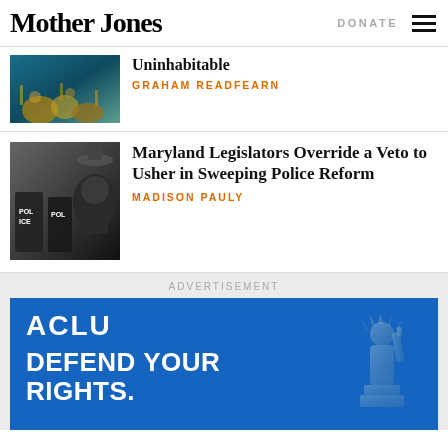Mother Jones
DONATE
Uninhabitable
GRAHAM READFEARN
Maryland Legislators Override a Veto to Usher in Sweeping Police Reform
MADISON PAULY
ADVERTISEMENT
[Figure (photo): ACLU advertisement with blue background showing ACLU logo and text DEFEND YOUR RIGHTS with Statue of Liberty illustration]
ACLU
DEFEND YOUR RIGHTS.